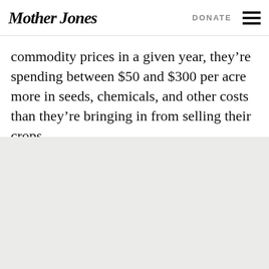Mother Jones | DONATE
commodity prices in a given year, they’re spending between $50 and $300 per acre more in seeds, chemicals, and other costs than they’re bringing in from selling their crops.